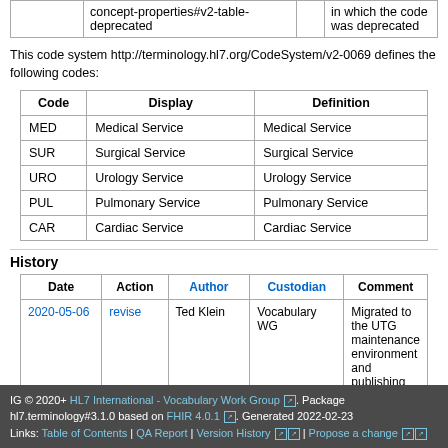|  |  |  |
| --- | --- | --- |
|  | concept-properties#v2-table-deprecated | in which the code was deprecated |
This code system http://terminology.hl7.org/CodeSystem/v2-0069 defines the following codes:
| Code | Display | Definition |
| --- | --- | --- |
| MED | Medical Service | Medical Service |
| SUR | Surgical Service | Surgical Service |
| URO | Urology Service | Urology Service |
| PUL | Pulmonary Service | Pulmonary Service |
| CAR | Cardiac Service | Cardiac Service |
History
| Date | Action | Author | Custodian | Comment |
| --- | --- | --- | --- | --- |
| 2020-05-06 | revise | Ted Klein | Vocabulary WG | Migrated to the UTG maintenance environment and publishing tooling. |
IG © 2020+ HL7 International - Vocabulary Work Group. Package hl7.terminology#3.1.0 based on FHIR 4.0.1. Generated 2022-02-23 Links: Table of Contents | QA Report | Version History | Propose a change